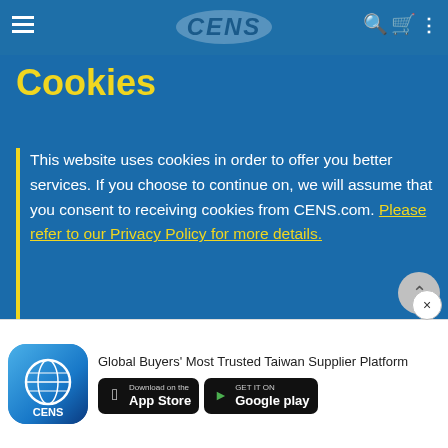CENS
Cookies
company's product catalog includes padlocks,...
This website uses cookies in order to offer you better services. If you choose to continue on, we will assume that you consent to receiving cookies from CENS.com. Please refer to our Privacy Policy for more details.
OK
[Figure (photo): Company building and people collage photo with QR code]
Global Buyers' Most Trusted Taiwan Supplier Platform
[Figure (logo): CENS app icon - blue globe logo]
[Figure (screenshot): Download on the App Store button]
[Figure (screenshot): GET IT ON Google play button]
innovation puts them at industry...